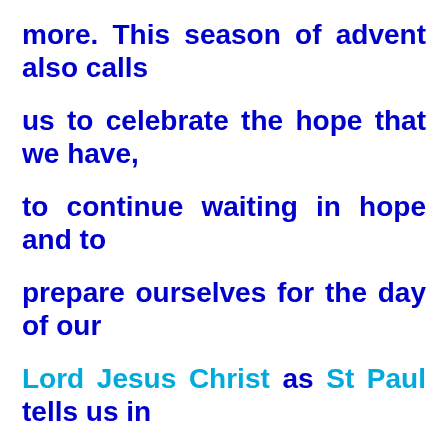more. This season of advent also calls us to celebrate the hope that we have, to continue waiting in hope and to prepare ourselves for the day of our Lord Jesus Christ as St Paul tells us in our Second Reading.

How to celebrate the hope that we